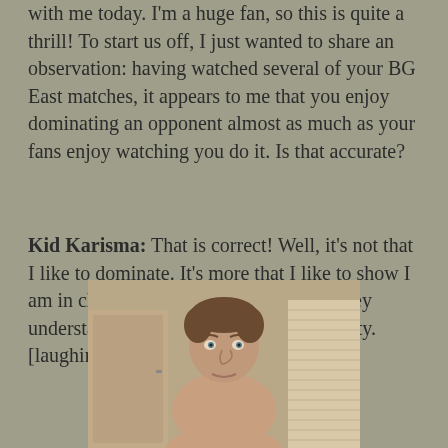with me today. I'm a huge fan, so this is quite a thrill! To start us off, I just wanted to share an observation: having watched several of your BG East matches, it appears to me that you enjoy dominating an opponent almost as much as your fans enjoy watching you do it. Is that accurate?
Kid Karisma: That is correct! Well, it's not that I like to dominate. It's more that I like to show I am in charge, and how do I make sure they understand that? I make them feel humility. [laughing]
[Figure (photo): A man with short brown hair, muscular build, shown from torso up, with a door and window blinds visible in the background.]